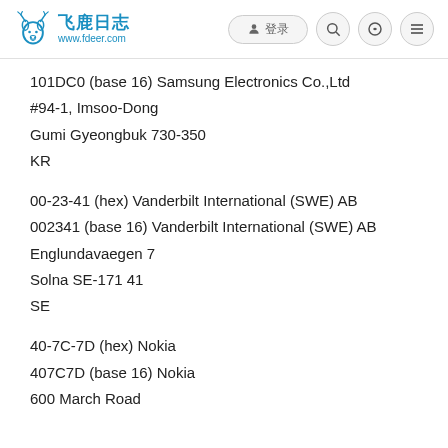飞鹿日志 www.fdeer.com
101DC0 (base 16) Samsung Electronics Co.,Ltd
#94-1, Imsoo-Dong
Gumi Gyeongbuk 730-350
KR
00-23-41 (hex) Vanderbilt International (SWE) AB
002341 (base 16) Vanderbilt International (SWE) AB
Englundavaegen 7
Solna SE-171 41
SE
40-7C-7D (hex) Nokia
407C7D (base 16) Nokia
600 March Road